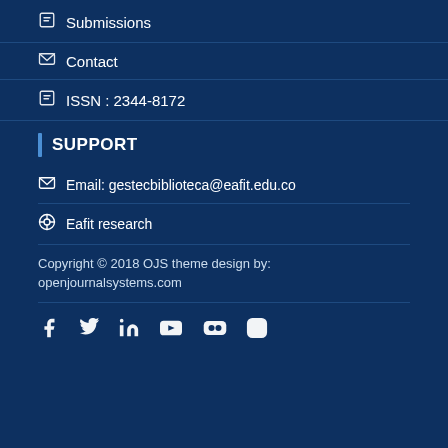Submissions
Contact
ISSN : 2344-8172
SUPPORT
Email: gestecbiblioteca@eafit.edu.co
Eafit research
Copyright © 2018 OJS theme design by: openjournalsystems.com
[Figure (infographic): Social media icons row: Facebook, Twitter, LinkedIn, YouTube, Flickr, Instagram]